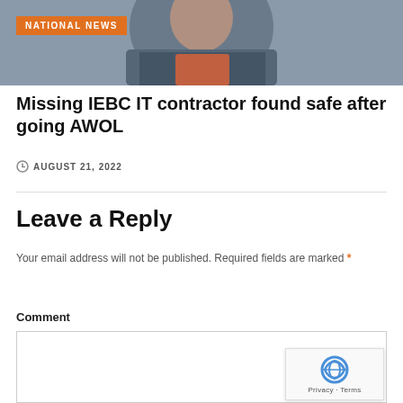[Figure (photo): Cropped photo of a person wearing a grey suit jacket and red collar shirt, bottom portion of face visible]
NATIONAL NEWS
Missing IEBC IT contractor found safe after going AWOL
AUGUST 21, 2022
Leave a Reply
Your email address will not be published. Required fields are marked *
Comment